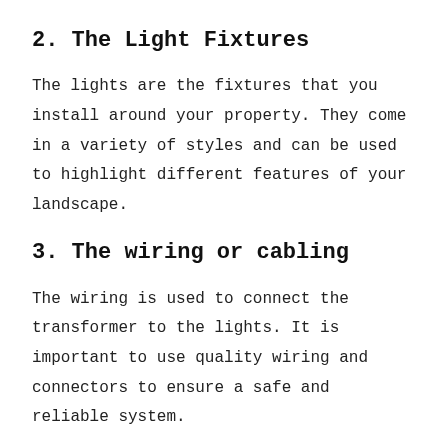2. The Light Fixtures
The lights are the fixtures that you install around your property. They come in a variety of styles and can be used to highlight different features of your landscape.
3. The wiring or cabling
The wiring is used to connect the transformer to the lights. It is important to use quality wiring and connectors to ensure a safe and reliable system.
The cable carries the electricity from the transformer to the lights. It is important to use a